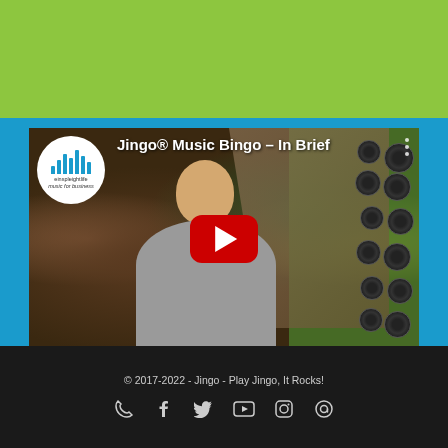[Figure (screenshot): YouTube video thumbnail showing a man in a gray hoodie holding a microphone, with the title 'Jingo® Music Bingo - In Brief', a YouTube play button overlay, and the eighthlife logo in the top left corner]
© 2017-2022 - Jingo - Play Jingo, It Rocks!